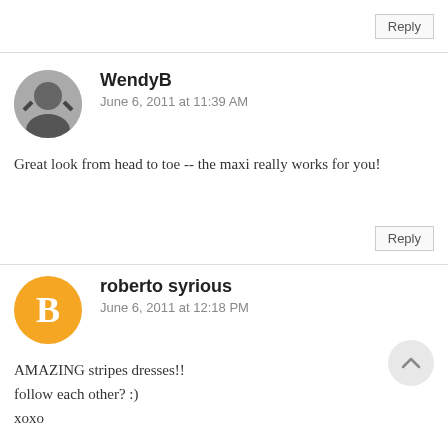Reply
WendyB
June 6, 2011 at 11:39 AM

Great look from head to toe -- the maxi really works for you!
Reply
roberto syrious
June 6, 2011 at 12:18 PM

AMAZING stripes dresses!!
follow each other? :)
xoxo

Syriously in Fashion
Official Facebook Page